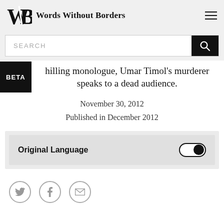Words Without Borders
SEARCH
hilling monologue, Umar Timol's murderer speaks to a dead audience.
November 30, 2012
Published in December 2012
Original Language
Social share icons: Twitter, Facebook, Email